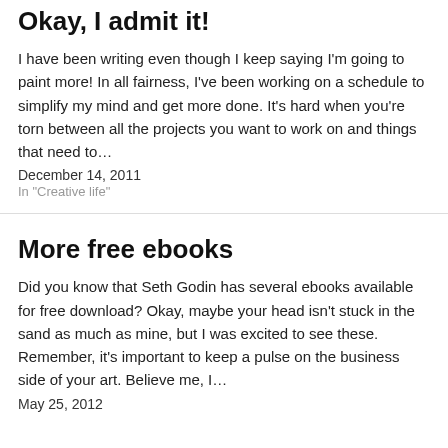Okay, I admit it!
I have been writing even though I keep saying I'm going to paint more! In all fairness, I've been working on a schedule to simplify my mind and get more done. It's hard when you're torn between all the projects you want to work on and things that need to…
December 14, 2011
In "Creative life"
More free ebooks
Did you know that Seth Godin has several ebooks available for free download? Okay, maybe your head isn't stuck in the sand as much as mine, but I was excited to see these. Remember, it's important to keep a pulse on the business side of your art. Believe me, I…
May 25, 2012